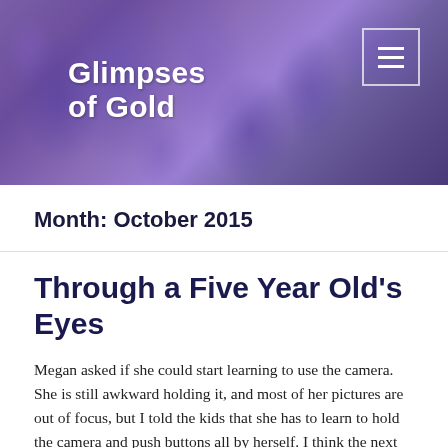[Figure (photo): Purple/violet flower petals close-up serving as a decorative header banner background]
Glimpses of Gold
Month: October 2015
Through a Five Year Old's Eyes
Megan asked if she could start learning to use the camera. She is still awkward holding it, and most of her pictures are out of focus, but I told the kids that she has to learn to hold the camera and push buttons all by herself.  I think the next time we go out, I will put the camera on a tripod to help her